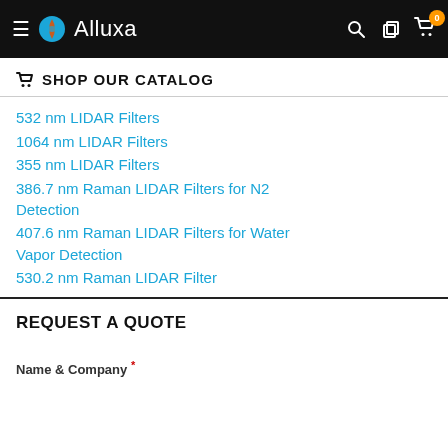Alluxa
SHOP OUR CATALOG
532 nm LIDAR Filters
1064 nm LIDAR Filters
355 nm LIDAR Filters
386.7 nm Raman LIDAR Filters for N2 Detection
407.6 nm Raman LIDAR Filters for Water Vapor Detection
530.2 nm Raman LIDAR Filter
REQUEST A QUOTE
Name & Company *